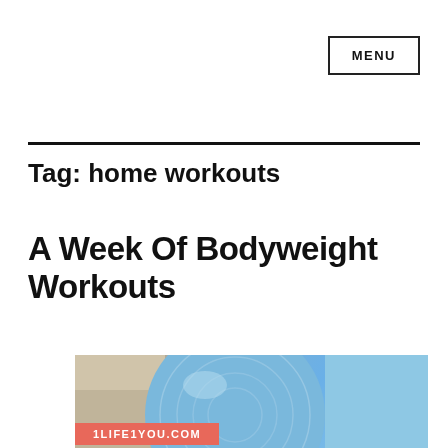MENU
Tag: home workouts
A Week Of Bodyweight Workouts
[Figure (photo): Exercise ball / yoga ball photo with a salmon-colored banner reading '1LIFE1YOU.COM' at the bottom]